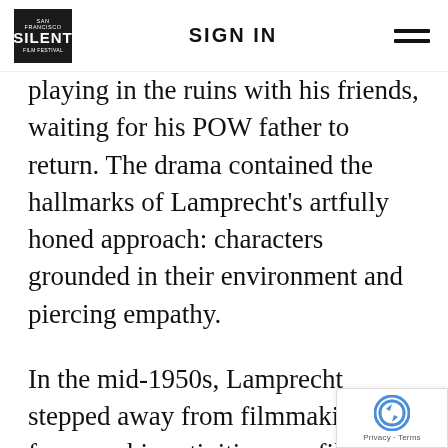SAN FRANCISCO SILENT FILM FESTIVAL | SIGN IN
playing in the ruins with his friends, waiting for his POW father to return. The drama contained the hallmarks of Lamprecht’s artfully honed approach: characters grounded in their environment and piercing empathy.
In the mid-1950s, Lamprecht stepped away from filmmaking to focus on his activities as a film historian and archivist. Still a figure of renown in film circles, he sat on the jury for the 195... Berlin Film Festival with, among others,